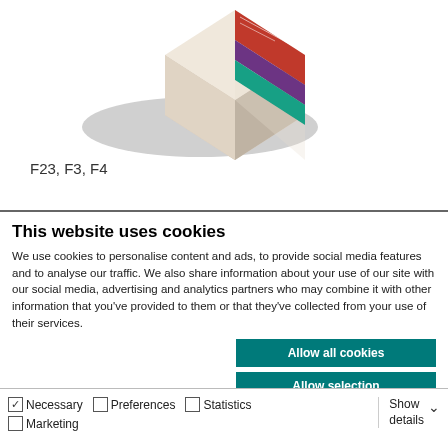[Figure (photo): Product box image with colorful design (Seni brand), shown with a gray elliptical shadow beneath it]
F23, F3, F4
This website uses cookies
We use cookies to personalise content and ads, to provide social media features and to analyse our traffic. We also share information about your use of our site with our social media, advertising and analytics partners who may combine it with other information that you've provided to them or that they've collected from your use of their services.
Allow all cookies
Allow selection
Use necessary cookies only
✓ Necessary   Preferences   Statistics   Marketing   Show details ∨